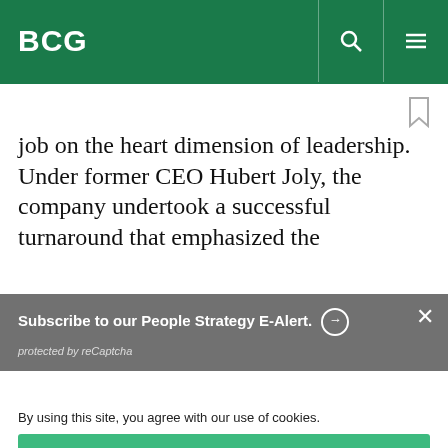BCG
job on the heart dimension of leadership. Under former CEO Hubert Joly, the company undertook a successful turnaround that emphasized the
Subscribe to our People Strategy E-Alert. [arrow icon]
protected by reCaptcha
By using this site, you agree with our use of cookies.
I consent to cookies
Want to know more?
Read our Cookie Policy